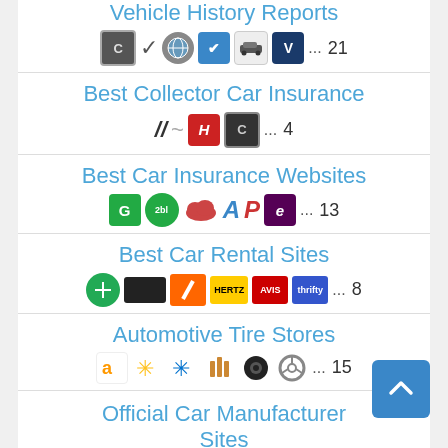Vehicle History Reports ... 21
Best Collector Car Insurance ... 4
Best Car Insurance Websites ... 13
Best Car Rental Sites ... 8
Automotive Tire Stores ... 15
Official Car Manufacturer Sites